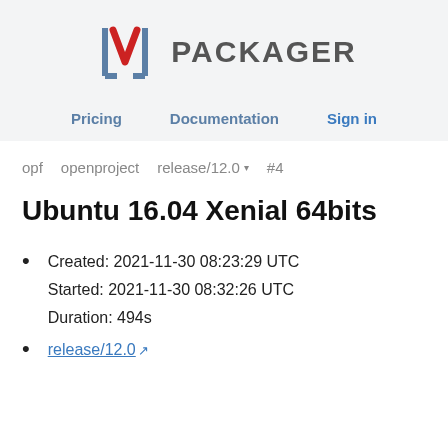[Figure (logo): LVM Packager logo with red V and gray brackets, followed by PACKAGER text]
Pricing   Documentation   Sign in
opf   openproject   release/12.0 ▾   #4
Ubuntu 16.04 Xenial 64bits
Created: 2021-11-30 08:23:29 UTC
Started: 2021-11-30 08:32:26 UTC
Duration: 494s
release/12.0 ↗